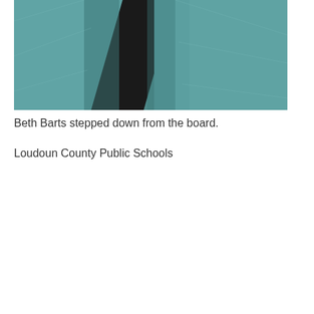[Figure (photo): Close-up photo of a person wearing a teal/blue-green blazer with a dark shirt underneath, showing torso area only]
Beth Barts stepped down from the board.
Loudoun County Public Schools